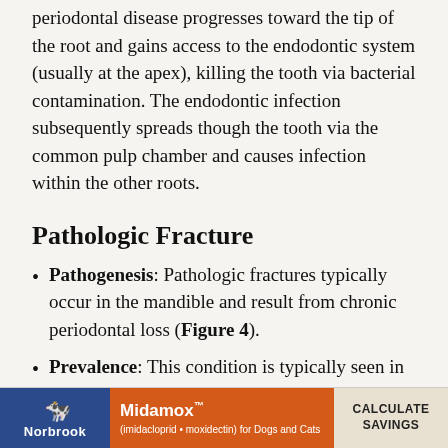periodontal disease progresses toward the tip of the root and gains access to the endodontic system (usually at the apex), killing the tooth via bacterial contamination. The endodontic infection subsequently spreads though the tooth via the common pulp chamber and causes infection within the other roots.
Pathologic Fracture
Pathogenesis: Pathologic fractures typically occur in the mandible and result from chronic periodontal loss (Figure 4).
Prevalence: This condition is typically seen in toy breed dogs, mainly because their teeth (especially the mandibular first molars a✗l
[Figure (other): Advertisement banner for Midamox (imidacloprid + moxidectin) for Dogs and Cats by Norbrook, with a 'Calculate Savings' call to action.]